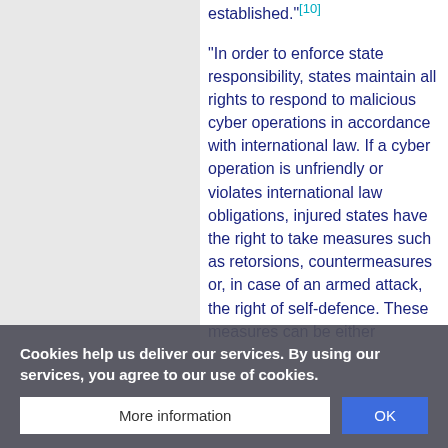established."[10]
"In order to enforce state responsibility, states maintain all rights to respond to malicious cyber operations in accordance with international law. If a cyber operation is unfriendly or violates international law obligations, injured states have the right to take measures such as retorsions, countermeasures or, in case of an armed attack, the right of self-defence. These measures can be either